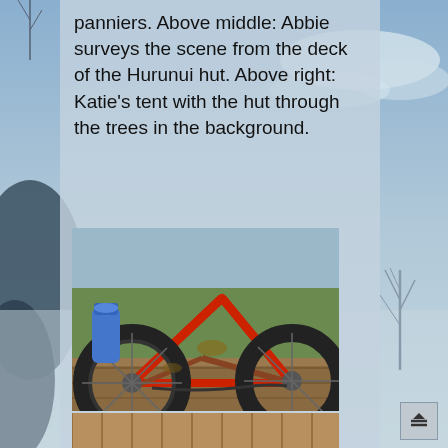panniers. Above middle: Abbie surveys the scene from the deck of the Hurunui hut. Above right: Katie's tent with the hut through the trees in the background.
[Figure (photo): Close-up of a muddy red mountain bike frame and wheel with a blue water bottle attached, resting on a wooden deck with green grass in the background.]
[Figure (photo): Several mountain bikes leaning against a wooden barn wall, resting on straw/hay on the ground.]